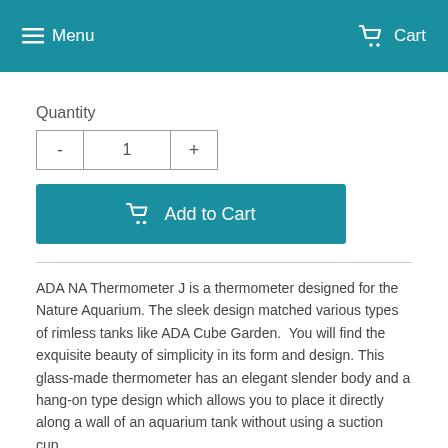Menu   Cart
Quantity
- 1 +
Add to Cart
ADA NA Thermometer J is a thermometer designed for the Nature Aquarium. The sleek design matched various types of rimless tanks like ADA Cube Garden.  You will find the exquisite beauty of simplicity in its form and design. This glass-made thermometer has an elegant slender body and a hang-on type design which allows you to place it directly along a wall of an aquarium tank without using a suction cup.
Specifications for 5mm Thermometer:
Actual Length: 4.5"